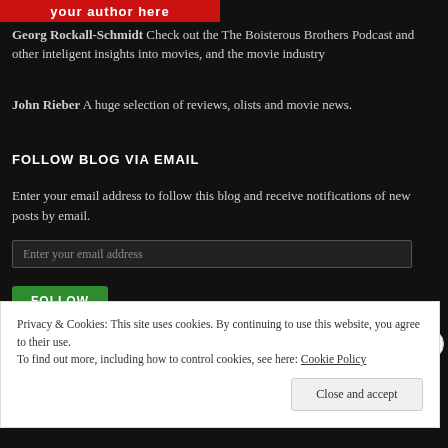your author here
Georg Rockall-Schmidt Check out the The Boisterous Brothers Podcast and other inteligent insights into movies, and the movie industry
John Rieber A huge selection of reviews, olists and movie news.
FOLLOW BLOG VIA EMAIL
Enter your email address to follow this blog and receive notifications of new posts by email.
Enter your email address
FOLLOW
Privacy & Cookies: This site uses cookies. By continuing to use this website, you agree to their use.
To find out more, including how to control cookies, see here: Cookie Policy
Close and accept